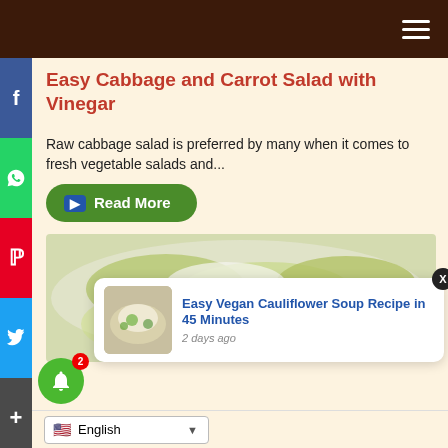Easy Cabbage and Carrot Salad with Vinegar
Raw cabbage salad is preferred by many when it comes to fresh vegetable salads and...
Read More
[Figure (photo): Close-up photo of cabbage and carrot salad with parsley garnish in a white bowl]
Easy Vegan Cauliflower Soup Recipe in 45 Minutes
2 days ago
English